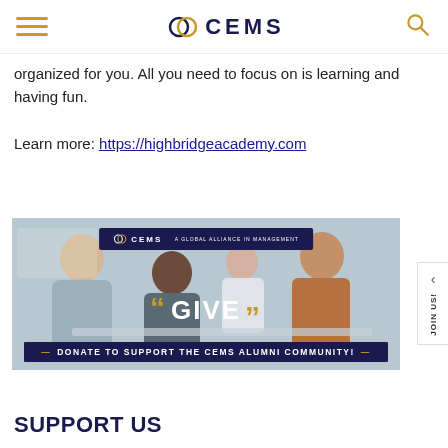CEMS
organized for you. All you need to focus on is learning and having fun.

Learn more: https://highbridgeacademy.com
[Figure (photo): Banner image showing a group of people collaborating around a table. Overlaid text reads GIVE in large white letters with gold quotation marks, and a dark banner below reads DONATE TO SUPPORT THE CEMS ALUMNI COMMUNITY! The CEMS logo appears at the top of the banner.]
SUPPORT US